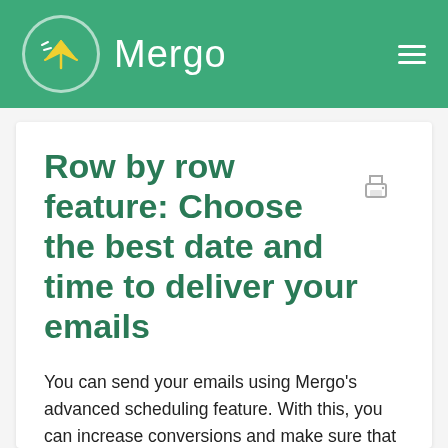Mergo
Row by row feature: Choose the best date and time to deliver your emails
You can send your emails using Mergo's advanced scheduling feature. With this, you can increase conversions and make sure that you reach your audience when they're most available by selecting the best date and time to strategically deliver your email campaigns